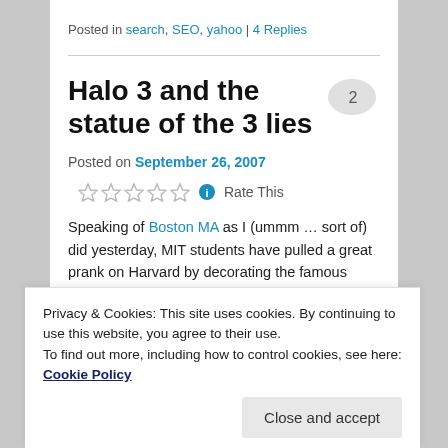Posted in search, SEO, yahoo | 4 Replies
Halo 3 and the statue of the 3 lies
Posted on September 26, 2007
Rate This
Speaking of Boston MA as I (ummm … sort of) did yesterday, MIT students have pulled a great prank on Harvard by decorating the famous statue in Harvard Yard
Privacy & Cookies: This site uses cookies. By continuing to use this website, you agree to their use.
To find out more, including how to control cookies, see here: Cookie Policy
Close and accept
achievement.